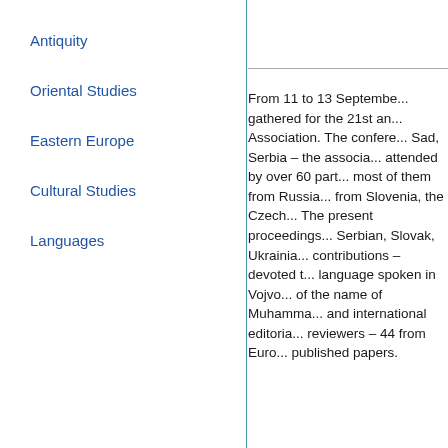Antiquity
Oriental Studies
Eastern Europe
Cultural Studies
Languages
From 11 to 13 September, gathered for the 21st an... Association. The confere... Sad, Serbia – the associa... attended by over 60 part... most of them from Russia... from Slovenia, the Czech... The present proceedings... Serbian, Slovak, Ukrainia... contributions – devoted t... language spoken in Vojvo... of the name of Muhamma... and international editoria... reviewers – 44 from Euro... published papers.